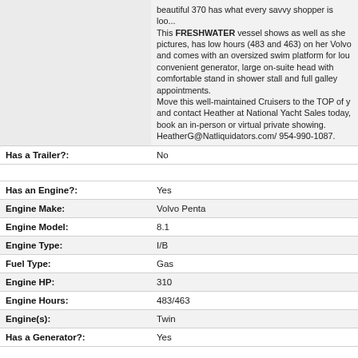|  | beautiful 370 has what every savvy shopper is loo... This FRESHWATER vessel shows as well as she pictures, has low hours (483 and 463) on her Volvo and comes with an oversized swim platform for lou convenient generator, large on-suite head with comfortable stand in shower stall and full galley appointments. Move this well-maintained Cruisers to the TOP of y and contact Heather at National Yacht Sales today, book an in-person or virtual private showing. HeatherG@Natliquidators.com/ 954-990-1087. |
| Has a Trailer?: | No |
| Has an Engine?: | Yes |
| Engine Make: | Volvo Penta |
| Engine Model: | 8.1 |
| Engine Type: | I/B |
| Fuel Type: | Gas |
| Engine HP: | 310 |
| Engine Hours: | 483/463 |
| Engine(s): | Twin |
| Has a Generator?: | Yes |
| Contact Email: | HeatherG@Natliquidators.com |
DISCLAIMER: National, its agents and brokers, offer the details and descriptions vessels in good faith but do not guarantee, warrant or represent the accuracy of the information or guarantee, warrant or represent the description or condition of the v A buyer should verify the description and condition of any vessel through an inspe a qualified surveyor and/or mechanic. The vessels are offered subject to prior s